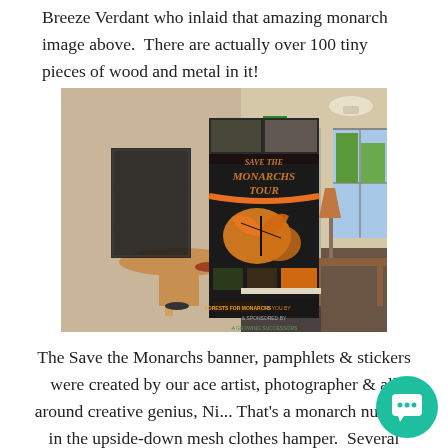Breeze Verdant who inlaid that amazing monarch image above.  There are actually over 100 tiny pieces of wood and metal in it!
[Figure (photo): Indoor room showing a 'Save The Monarchs Tour' banner/display stand with a monarch butterfly image, alongside small tables with items, and a hallway/entrance area with windows and a lamp visible in the background.]
The Save the Monarchs banner, pamphlets & stickers were created by our ace artist, photographer & all around creative genius, Ni... That's a monarch nursery in the upside-down mesh clothes hamper.  Several monarchs in all